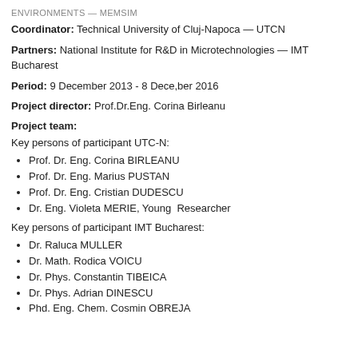ENVIRONMENTS — MEMSIM
Coordinator: Technical University of Cluj-Napoca — UTCN
Partners: National Institute for R&D in Microtechnologies — IMT Bucharest
Period: 9 December 2013 - 8 December 2016
Project director: Prof.Dr.Eng. Corina Birleanu
Project team:
Key persons of participant UTC-N:
Prof. Dr. Eng. Corina BIRLEANU
Prof. Dr. Eng. Marius PUSTAN
Prof. Dr. Eng. Cristian DUDESCU
Dr. Eng. Violeta MERIE, Young  Researcher
Key persons of participant IMT Bucharest:
Dr. Raluca MULLER
Dr. Math. Rodica VOICU
Dr. Phys. Constantin TIBEICA
Dr. Phys. Adrian DINESCU
Phd. Eng. Chem. Cosmin OBREJA